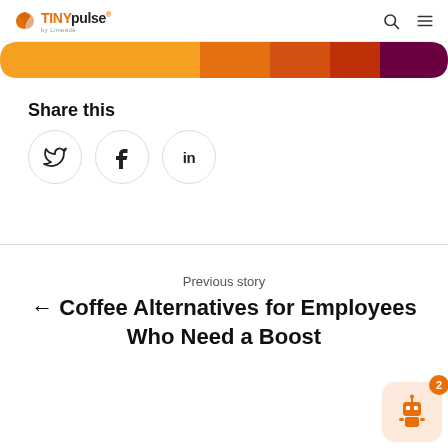TINYpulse by Limeade
[Figure (other): Horizontal color gradient bar with segments: orange, dark orange, red-orange, dark red, dark purple]
Share this
[Figure (infographic): Three social share buttons in circles: Twitter (bird icon), Facebook (f), LinkedIn (in)]
Previous story
← Coffee Alternatives for Employees Who Need a Boost